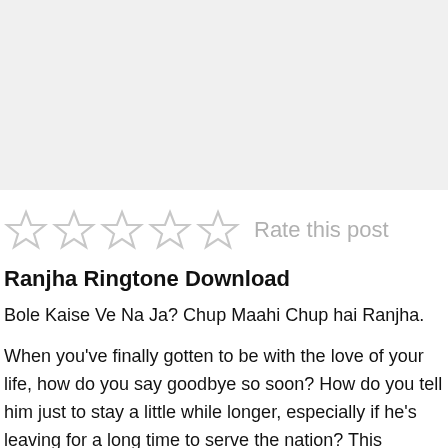[Figure (other): Gray placeholder image area at the top of the page]
☆☆☆☆☆  Rate this post
Ranjha Ringtone Download
Bole Kaise Ve Na Ja? Chup Maahi Chup hai Ranjha.
When you've finally gotten to be with the love of your life, how do you say goodbye so soon? How do you tell him just to stay a little while longer, especially if he's leaving for a long time to serve the nation? This bittersweet feeling is sung by B Praak